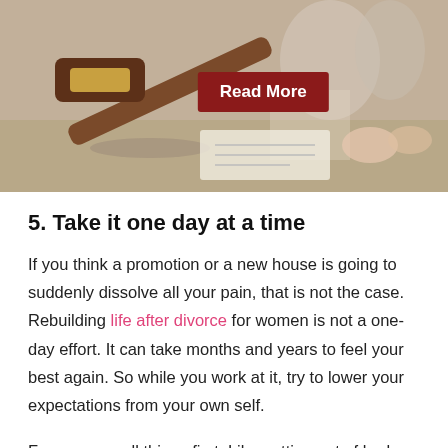[Figure (photo): Photo of a wooden gavel on a surface with people in the background, with a red 'Read More' button overlay in the center]
5. Take it one day at a time
If you think a promotion or a new house is going to suddenly dissolve all your pain, that is not the case. Rebuilding life after divorce for women is not a one-day effort. It can take months and years to feel your best again. So while you work at it, try to lower your expectations from your own self.
Focus on small things first. Like getting out of bed early, making a healthy breakfast instead of